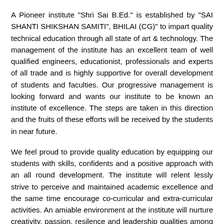A Pioneer institute "Shri Sai B.Ed." is established by "SAI SHANTI SHIKSHAN SAMITI", BHILAI (CG)" to impart quality technical education through all state of art & technology. The management of the institute has an excellent team of well qualified engineers, educationist, professionals and experts of all trade and is highly supportive for overall development of students and faculties. Our progressive management is looking forward and wants our institute to be known an institute of excellence. The steps are taken in this direction and the fruits of these efforts will be received by the students in near future.
We feel proud to provide quality education by equipping our students with skills, confidents and a positive approach with an all round development. The institute will relent lessly strive to perceive and maintained academic excellence and the same time encourage co-curricular and extra-curricular activities. An amiable environment at the institute will nurture creativity, passion, resilence and leadership qualities among the students for development of the versatile personalities.
I convey my heartiest felicitation to all students and faculties and staffs and wish you all a most healthiest and prosperous future and hope a best co-operation to bring prospering environment in the